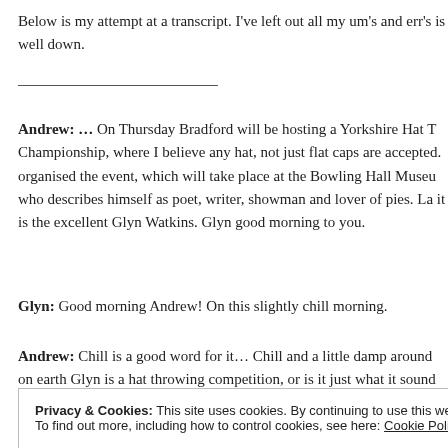Below is my attempt at a transcript. I've left out all my um's and err's is well down.
Andrew: … On Thursday Bradford will be hosting a Yorkshire Hat T Championship, where I believe any hat, not just flat caps are accepted. organised the event, which will take place at the Bowling Hall Museu who describes himself as poet, writer, showman and lover of pies. La it is the excellent Glyn Watkins. Glyn good morning to you.
Glyn: Good morning Andrew! On this slightly chill morning.
Andrew:  Chill is a good word for it… Chill and a little damp around on earth Glyn is a hat throwing competition, or is it just what it sound
Privacy & Cookies: This site uses cookies. By continuing to use this website, you agree to their use. To find out more, including how to control cookies, see here: Cookie Policy
Close and accept
Formally Thrown Hat Associations) has considered doing distance H